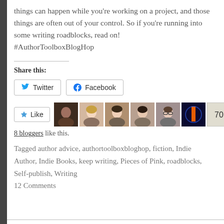things can happen while you're working on a project, and those things are often out of your control. So if you're running into some writing roadblocks, read on! #AuthorToolboxBlogHop
Share this:
Twitter  Facebook
Like  8 bloggers like this.
Tagged author advice, authortoolboxbloghop, fiction, Indie Author, Indie Books, keep writing, Pieces of Pink, roadblocks, Self-publish, Writing
12 Comments